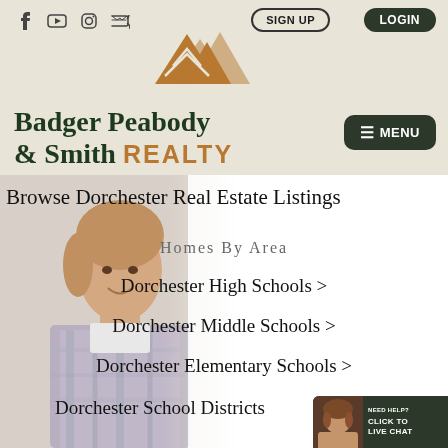[Figure (logo): Social media icons: Facebook, YouTube, Instagram, RSS feed]
SIGN UP
LOGIN
[Figure (logo): Badger Peabody & Smith Realty mountain logo in gold/amber color]
Badger Peabody & Smith REALTY
≡ MENU
[Figure (photo): Young woman smiling, wearing plaid shirt, background image on left side of page]
Browse Dorchester Real Estate Listings
Homes By Area
Dorchester High Schools >
Dorchester Middle Schools >
Dorchester Elementary Schools >
Dorchester School Districts
[Figure (other): Live chat widget with agent photo, text: NEED HELP? CLICK TO LIVE CHAT]